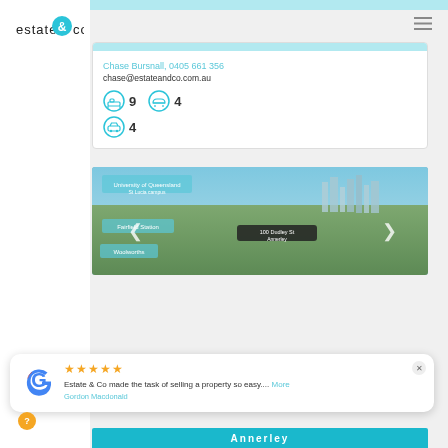[Figure (logo): estate & co logo with teal ampersand circle]
Chase Bursnall, 0405 661 356
chase@estateandco.com.au
9 bedrooms, 4 bathrooms, 4 car spaces
[Figure (photo): Aerial map view showing 100 Dudley St Annerley area with University of Queensland St Lucia campus, Fairfield Station, Woolworths labels and city skyline]
Estate & Co made the task of selling a property so easy.... More
Gordon Macdonald
Annerley